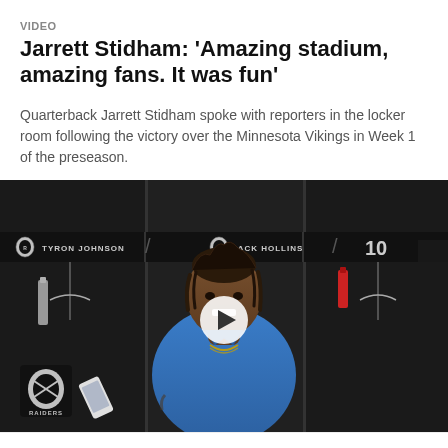VIDEO
Jarrett Stidham: 'Amazing stadium, amazing fans. It was fun'
Quarterback Jarrett Stidham spoke with reporters in the locker room following the victory over the Minnesota Vikings in Week 1 of the preseason.
[Figure (screenshot): Video thumbnail showing Jarrett Stidham in the Raiders locker room, smiling, wearing a blue polo shirt. Locker name tags for Tyron Johnson and Mack Hollins (#10) visible in background. Raiders logo visible bottom left. Play button overlay in center.]
VIDEO